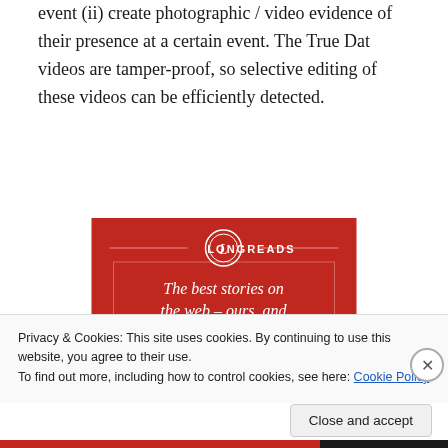event (ii) create photographic / video evidence of their presence at a certain event. The True Dat videos are tamper-proof, so selective editing of these videos can be efficiently detected.
[Figure (illustration): Longreads advertisement banner on red background. Shows the Longreads logo (circle with letter L) and tagline 'The best stories on the web – ours, and everyone else's.' with a 'Start reading' button.]
Privacy & Cookies: This site uses cookies. By continuing to use this website, you agree to their use.
To find out more, including how to control cookies, see here: Cookie Policy
Close and accept